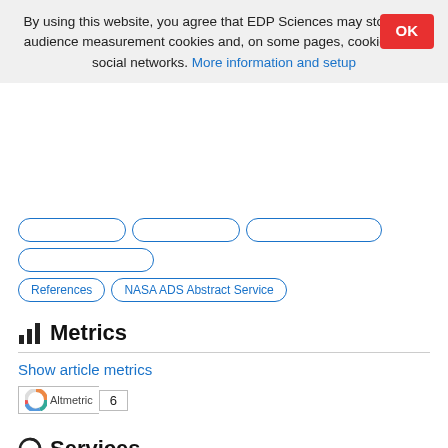By using this website, you agree that EDP Sciences may store web audience measurement cookies and, on some pages, cookies from social networks. More information and setup
References
NASA ADS Abstract Service
Metrics
Show article metrics
[Figure (other): Altmetric badge with score 6]
Services
Articles citing this article
CrossRef (9)
Same authors
- Google Scholar